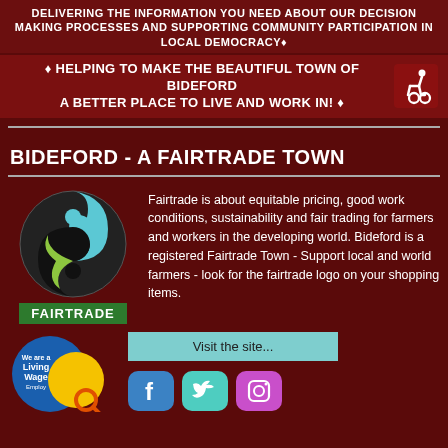DELIVERING THE INFORMATION YOU NEED ABOUT OUR DECISION MAKING PROCESSES AND SUPPORTING COMMUNITY PARTICIPATION IN LOCAL DEMOCRACY♦
♦ HELPING TO MAKE THE BEAUTIFUL TOWN OF BIDEFORD A BETTER PLACE TO LIVE AND WORK IN! ♦
BIDEFORD - A FAIRTRADE TOWN
[Figure (logo): Fairtrade logo — circular yin-yang style logo with blue and black swirls and a green leaf shape, with FAIRTRADE label below in green]
Fairtrade is about equitable pricing, good work conditions, sustainability and fair trading for farmers and workers in the developing world. Bideford is a registered Fairtrade Town - Support local and world farmers - look for the fairtrade logo on your shopping items.
[Figure (logo): We are a Living Wage Employer badge — circular blue and yellow badge with text 'We are a Living Wage Employer']
Visit the site...
[Figure (logo): Social media icons: Facebook (blue), Twitter (teal), Instagram (pink/purple)]